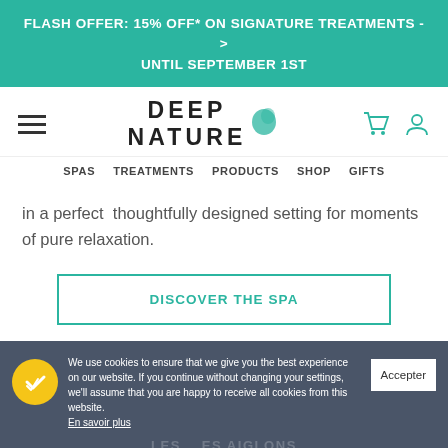FLASH OFFER: 15% OFF* ON SIGNATURE TREATMENTS -> UNTIL SEPTEMBER 1ST
[Figure (logo): Deep Nature spa logo with teal droplet icon, bold caps text DEEP NATURE]
SPAS   TREATMENTS   PRODUCTS   SHOP   GIFTS
in a perfect  thoughtfully designed setting for moments of pure relaxation.
DISCOVER THE SPA
We use cookies to ensure that we give you the best experience on our website. If you continue without changing your settings, we'll assume that you are happy to receive all cookies from this website. En savoir plus
LES   ES AIGLONS